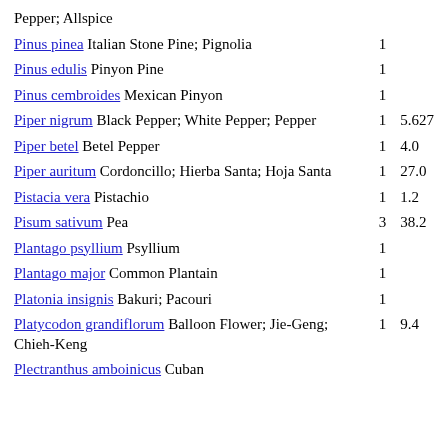| Pepper; Allspice |  |  |
| Pinus pinea Italian Stone Pine; Pignolia | 1 |  |
| Pinus edulis Pinyon Pine | 1 |  |
| Pinus cembroides Mexican Pinyon | 1 |  |
| Piper nigrum Black Pepper; White Pepper; Pepper | 1 | 5.627 |
| Piper betel Betel Pepper | 1 | 4.0 |
| Piper auritum Cordoncillo; Hierba Santa; Hoja Santa | 1 | 27.0 |
| Pistacia vera Pistachio | 1 | 1.2 |
| Pisum sativum Pea | 3 | 38.2 |
| Plantago psyllium Psyllium | 1 |  |
| Plantago major Common Plantain | 1 |  |
| Platonia insignis Bakuri; Pacouri | 1 |  |
| Platycodon grandiflorum Balloon Flower; Jie-Geng; Chieh-Keng | 1 | 9.4 |
| Plectranthus amboinicus Cuban |  |  |